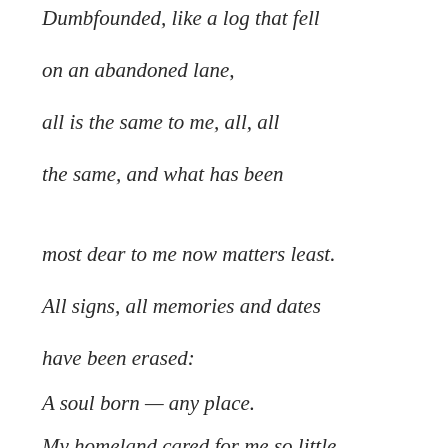Dumbfounded, like a log that fell
on an abandoned lane,
all is the same to me, all, all
the same, and what has been
most dear to me now matters least.
All signs, all memories and dates
have been erased:
A soul born — any place.
My homeland cared for me so little